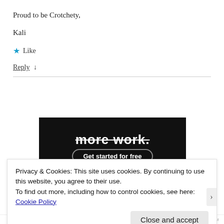Proud to be Crotchety,
Kali
★ Like
Reply ↓
[Figure (screenshot): Dark advertisement banner with bold white text 'more work.' and a rounded button 'Get started for free']
Privacy & Cookies: This site uses cookies. By continuing to use this website, you agree to their use.
To find out more, including how to control cookies, see here: Cookie Policy
Close and accept
WPCOM. 11:55 PM